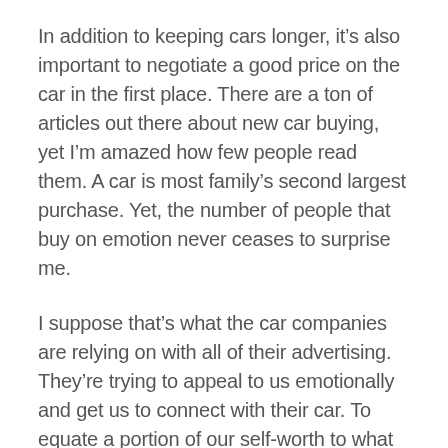In addition to keeping cars longer, it's also important to negotiate a good price on the car in the first place. There are a ton of articles out there about new car buying, yet I'm amazed how few people read them. A car is most family's second largest purchase. Yet, the number of people that buy on emotion never ceases to surprise me.
I suppose that's what the car companies are relying on with all of their advertising. They're trying to appeal to us emotionally and get us to connect with their car. To equate a portion of our self-worth to what we drive, so we'll want their car to make us feel better about ourselves.